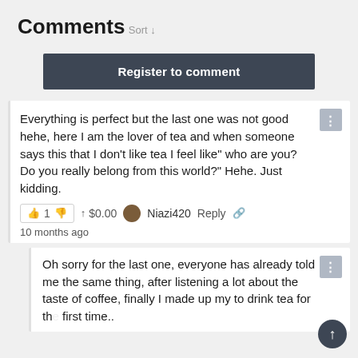Comments
Sort ↓
Register to comment
Everything is perfect but the last one was not good hehe, here I am the lover of tea and when someone says this that I don't like tea I feel like" who are you? Do you really belong from this world?" Hehe. Just kidding.
👍 1 👎  ↑ $0.00  Niazi420 Reply 🔗
10 months ago
Oh sorry for the last one, everyone has already told me the same thing, after listening a lot about the taste of coffee, finally I made up my to drink tea for the first time..